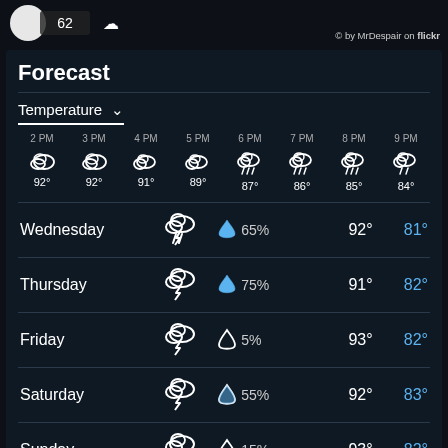© by MrDespair on flickr
Forecast
Temperature
| Time | 2 PM | 3 PM | 4 PM | 5 PM | 6 PM | 7 PM | 8 PM | 9 PM |
| --- | --- | --- | --- | --- | --- | --- | --- | --- |
| Temp | 92° | 92° | 91° | 89° | 87° | 86° | 85° | 84° |
| Day | Condition | Precip% | High | Low |
| --- | --- | --- | --- | --- |
| Wednesday | thunderstorm | 65% | 92° | 81° |
| Thursday | thunderstorm | 75% | 91° | 82° |
| Friday | thunderstorm | 5% | 93° | 82° |
| Saturday | thunderstorm | 55% | 92° | 83° |
| Sunday | thunderstorm | 15% | 93° | 82° |
| Monday | cloudy | 15% | 89° | 81° |
| Tuesday | rain | 70% | 86° | 80° |